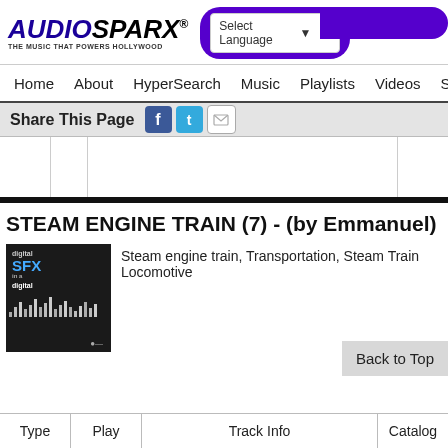AUDIOSPARX - THE MUSIC THAT POWERS HOLLYWOOD
Select Language | Home | About | HyperSearch | Music | Playlists | Videos | Sound
Share This Page
STEAM ENGINE TRAIN (7) - (by Emmanuel)
[Figure (photo): Album/product cover art for Digital SFX, dark background with waveform graphic]
Steam engine train, Transportation, Steam Train Locomotive
| Type | Play | Track Info | Catalog |
| --- | --- | --- | --- |